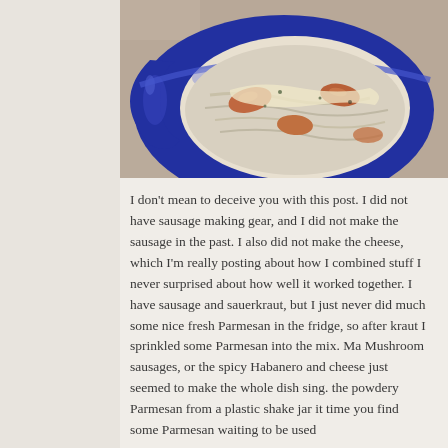[Figure (photo): A blue ceramic bowl or mug containing a food dish that appears to be sausage with sauerkraut and melted Parmesan cheese, photographed from above on a granite or stone surface.]
I don't mean to deceive you with this post. I did not have sausage making gear, and I did not make the sausage in the past. I also did not make the cheese, which I'm really posting about how I combined stuff I never surprised about how well it worked together. I have sausage and sauerkraut, but I just never did much some nice fresh Parmesan in the fridge, so after kraut I sprinkled some Parmesan into the mix. Mushroom sausages, or the spicy Habanero and cheese just seemed to make the whole dish sing. the powdery Parmesan from a plastic shake jar it time you find some Parmesan waiting to be used